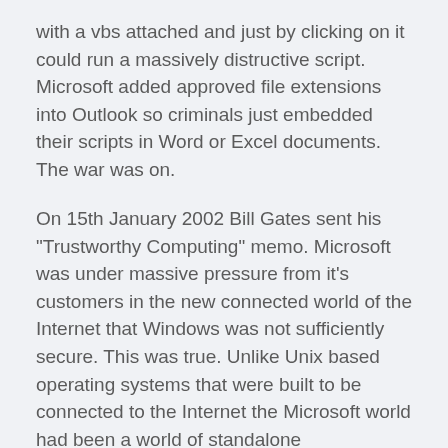with a vbs attached and just by clicking on it could run a massively distructive script. Microsoft added approved file extensions into Outlook so criminals just embedded their scripts in Word or Excel documents. The war was on.
On 15th January 2002 Bill Gates sent his "Trustworthy Computing" memo. Microsoft was under massive pressure from it's customers in the new connected world of the Internet that Windows was not sufficiently secure. This was true. Unlike Unix based operating systems that were built to be connected to the Internet the Microsoft world had been a world of standalone unconnected devices. Once these were attached to networks then fundamental design issues could not be dealt with by patches. Gates announced that from 2002 Microsoft's priorities would be; Security, Privacy, Reliability, and Business Integrity,
After the memo the world changed for Microsoft. Every product now had to be secure by default. Windows XP got